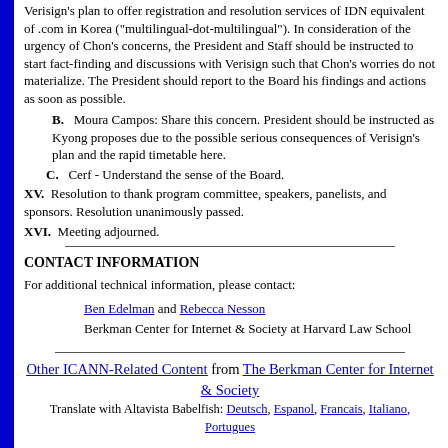Verisign's plan to offer registration and resolution services of IDN equivalent of .com in Korea ("multilingual-dot-multilingual"). In consideration of the urgency of Chon's concerns, the President and Staff should be instructed to start fact-finding and discussions with Verisign such that Chon's worries do not materialize. The President should report to the Board his findings and actions as soon as possible.
B. Moura Campos: Share this concern. President should be instructed as Kyong proposes due to the possible serious consequences of Verisign's plan and the rapid timetable here.
C. Cerf - Understand the sense of the Board.
XV. Resolution to thank program committee, speakers, panelists, and sponsors. Resolution unanimously passed.
XVI. Meeting adjourned.
CONTACT INFORMATION
For additional technical information, please contact:
Ben Edelman and Rebecca Nesson
Berkman Center for Internet & Society at Harvard Law School
Other ICANN-Related Content from The Berkman Center for Internet & Society
Translate with Altavista Babelfish: Deutsch, Espanol, Francais, Italiano, Portugues